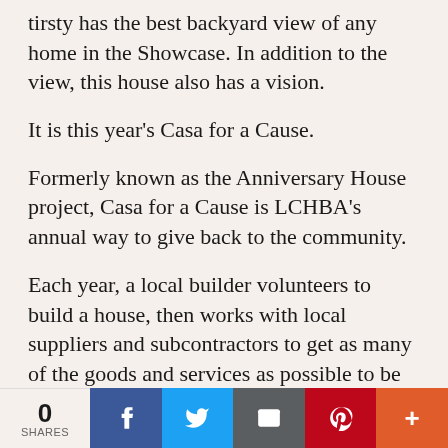tirsty has the best backyard view of any home in the Showcase. In addition to the view, this house also has a vision.
It is this year's Casa for a Cause.
Formerly known as the Anniversary House project, Casa for a Cause is LCHBA's annual way to give back to the community.
Each year, a local builder volunteers to build a house, then works with local suppliers and subcontractors to get as many of the goods and services as possible to be discounted or donated. In some cases, even the land for the home
0 SHARES | Facebook | Twitter | Email | Pinterest | More